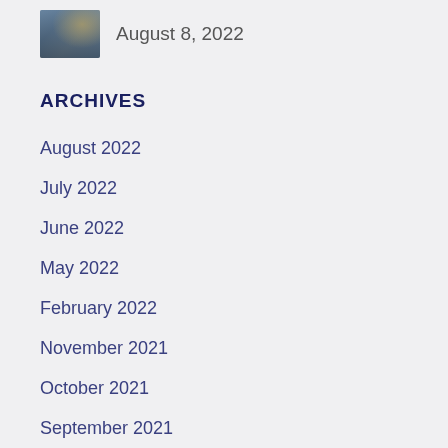[Figure (photo): Small thumbnail image of a landscape or scenic outdoor photo]
August 8, 2022
ARCHIVES
August 2022
July 2022
June 2022
May 2022
February 2022
November 2021
October 2021
September 2021
August 2021
July 2021